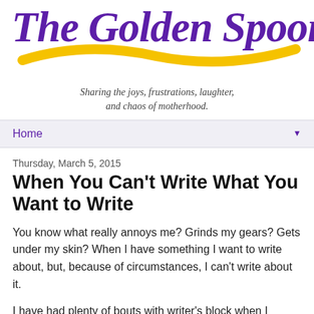[Figure (logo): The Golden Spoons blog logo with purple script text and gold swoosh underline]
Sharing the joys, frustrations, laughter, and chaos of motherhood.
Home
Thursday, March 5, 2015
When You Can't Write What You Want to Write
You know what really annoys me? Grinds my gears? Gets under my skin? When I have something I want to write about, but, because of circumstances, I can't write about it.
I have had plenty of bouts with writer's block when I couldn't come up with anything at all to get my fingers typing. On the